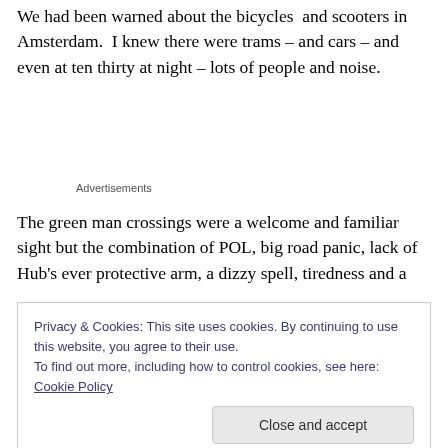We had been warned about the bicycles  and scooters in Amsterdam.  I knew there were trams – and cars – and even at ten thirty at night – lots of people and noise.
Advertisements
The green man crossings were a welcome and familiar sight but the combination of POL, big road panic, lack of Hub's ever protective arm, a dizzy spell, tiredness and a
Privacy & Cookies: This site uses cookies. By continuing to use this website, you agree to their use.
To find out more, including how to control cookies, see here: Cookie Policy